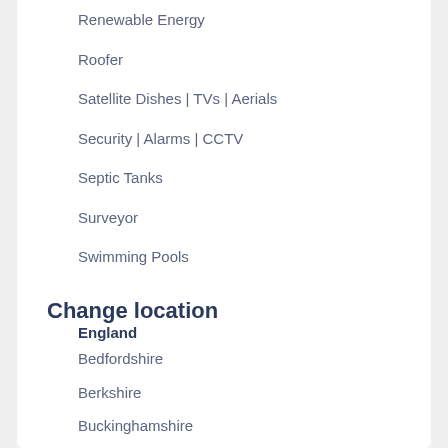Renewable Energy
Roofer
Satellite Dishes | TVs | Aerials
Security | Alarms | CCTV
Septic Tanks
Surveyor
Swimming Pools
Tiler
Welder | Metal Worker
Change location
England
Bedfordshire
Berkshire
Buckinghamshire